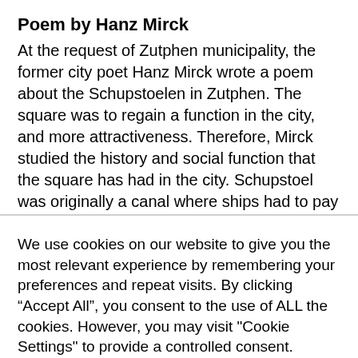Poem by Hanz Mirck
At the request of Zutphen municipality, the former city poet Hanz Mirck wrote a poem about the Schupstoelen in Zutphen. The square was to regain a function in the city, and more attractiveness. Therefore, Mirck studied the history and social function that the square has had in the city. Schupstoel was originally a canal where ships had to pay
We use cookies on our website to give you the most relevant experience by remembering your preferences and repeat visits. By clicking “Accept All”, you consent to the use of ALL the cookies. However, you may visit "Cookie Settings" to provide a controlled consent.
Cookie Settings | Accept All